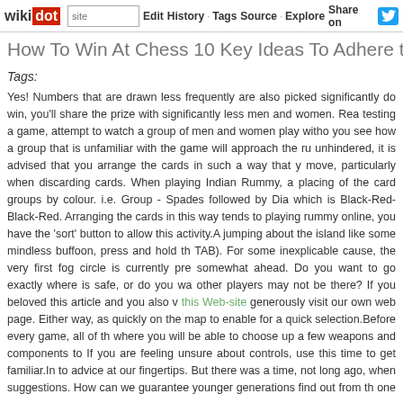wikidot | site Edit History Tags Source Explore Share on
How To Win At Chess 10 Key Ideas To Adhere to
Tags:
Yes! Numbers that are drawn less frequently are also picked significantly do win, you'll share the prize with significantly less men and women. Rea testing a game, attempt to watch a group of men and women play witho you see how a group that is unfamiliar with the game will approach the ru unhindered, it is advised that you arrange the cards in such a way that y move, particularly when discarding cards. When playing Indian Rummy, a placing of the card groups by colour. i.e. Group - Spades followed by Dia which is Black-Red-Black-Red. Arranging the cards in this way tends to playing rummy online, you have the 'sort' button to allow this activity.A jumping about the island like some mindless buffoon, press and hold th TAB). For some inexplicable cause, the very first fog circle is currently pre somewhat ahead. Do you want to go exactly where is safe, or do you wa other players may not be there? If you beloved this article and you also v this Web-site generously visit our own web page. Either way, as quickly on the map to enable for a quick selection.Before every game, all of th where you will be able to choose up a few weapons and components to If you are feeling unsure about controls, use this time to get familiar.In to advice at our fingertips. But there was a time, not long ago, when suggestions. How can we guarantee younger generations find out from th one particular of the queries explored in this lesson.Employing the new R accessed by going to the Settings tab in the main menu — I was rapidly i An individual had laid a trap on the ceiling I was in, and I m There is no perfect system. Nonetheless, we strive to substantially enha this program we suggest you dispose of a sum of funds (bank) tha